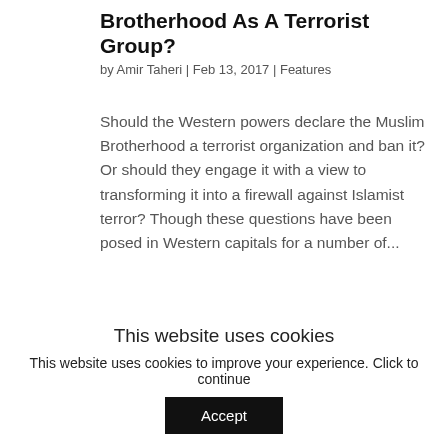Brotherhood As A Terrorist Group?
by Amir Taheri | Feb 13, 2017 | Features
Should the Western powers declare the Muslim Brotherhood a terrorist organization and ban it? Or should they engage it with a view to transforming it into a firewall against Islamist terror? Though these questions have been posed in Western capitals for a number of...
[Figure (photo): A person wearing a black balaclava and a white patterned face mask, photographed in front of a blurred background.]
This website uses cookies
This website uses cookies to improve your experience. Click to continue
Accept